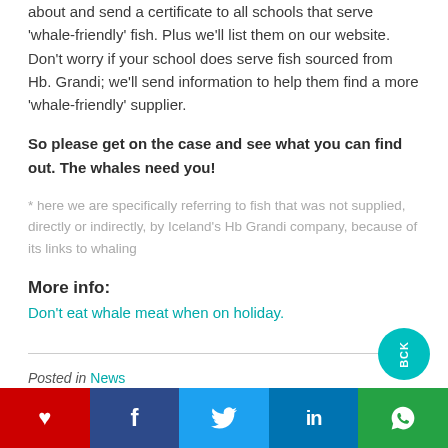about and send a certificate to all schools that serve 'whale-friendly' fish. Plus we'll list them on our website. Don't worry if your school does serve fish sourced from Hb. Grandi; we'll send information to help them find a more 'whale-friendly' supplier.
So please get on the case and see what you can find out. The whales need you!
* here we are specifically referring to fish that was not supplied, directly or indirectly, by Iceland's Hb Grandi company, because of its links to whaling
More info:
Don't eat whale meat when on holiday.
Posted in News